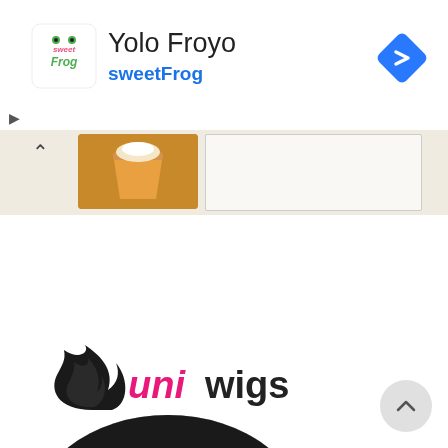[Figure (screenshot): Advertisement banner for Yolo Froyo / sweetFrog with logo, title text, navigation diamond icon, and close/play controls. Below is a partial map strip showing a thumbnail and info box.]
[Figure (logo): UniWigs logo with flame/hair icon and pink and black styled text]
[Figure (photo): Photo of a woman with dark roots and pink hair, wearing pink eye makeup, shown in a rounded-top oval crop]